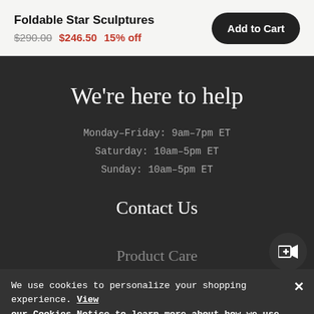Foldable Star Sculptures
$290.00  $246.50  15% off
Add to Cart
We're here to help
Monday–Friday: 9am–7pm ET
Saturday: 10am–5pm ET
Sunday: 10am–5pm ET
Contact Us
Product Care
We use cookies to personalize your shopping experience. View our Cookies Notice to learn more about how we use cookies and how you can manage them.